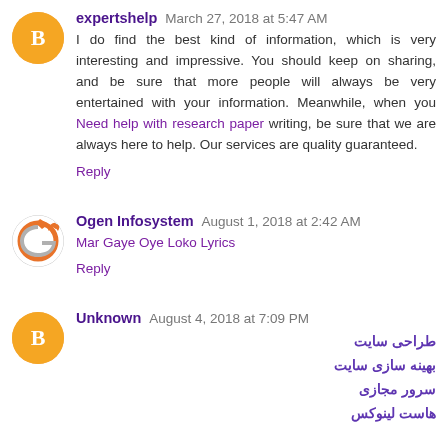expertshelp March 27, 2018 at 5:47 AM
I do find the best kind of information, which is very interesting and impressive. You should keep on sharing, and be sure that more people will always be very entertained with your information. Meanwhile, when you Need help with research paper writing, be sure that we are always here to help. Our services are quality guaranteed.
Reply
Ogen Infosystem August 1, 2018 at 2:42 AM
Mar Gaye Oye Loko Lyrics
Reply
Unknown August 4, 2018 at 7:09 PM
طراحی سایت
بهینه سازی سایت
سرور مجازی
هاست لینوکس